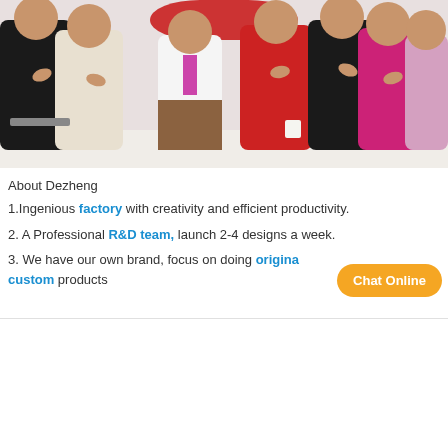[Figure (photo): Group photo of multiple women standing together, several holding flowers, in an office/event setting. Wearing various outfits including black, white, red, and pink.]
About Dezheng
1.Ingenious factory with creativity and efficient productivity.
2. A Professional R&D team, launch 2-4 designs a week.
3. We have our own brand, focus on doing original custom products